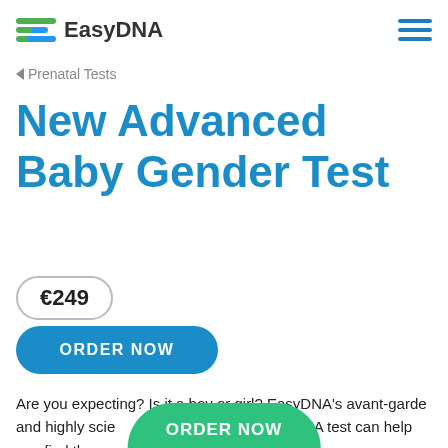EasyDNA
◄ Prenatal Tests
New Advanced Baby Gender Test
€249
ORDER NOW
Are you expecting? Is it a boy or girl? EasyDNA's avant-garde and highly scie… prediction DNA test can help you find the … estion. This gender
ORDER NOW